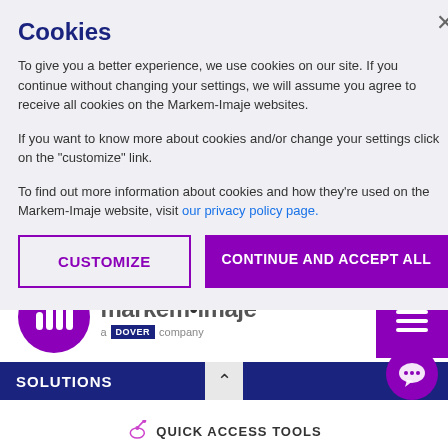Cookies
To give you a better experience, we use cookies on our site. If you continue without changing your settings, we will assume you agree to receive all cookies on the Markem-Imaje websites.
If you want to know more about cookies and/or change your settings click on the "customize" link.
To find out more information about cookies and how they're used on the Markem-Imaje website, visit our privacy policy page.
[Figure (screenshot): Markem-Imaje website header with logo, hamburger menu, navigation bar with SOLUTIONS, and QUICK ACCESS TOOLS bar]